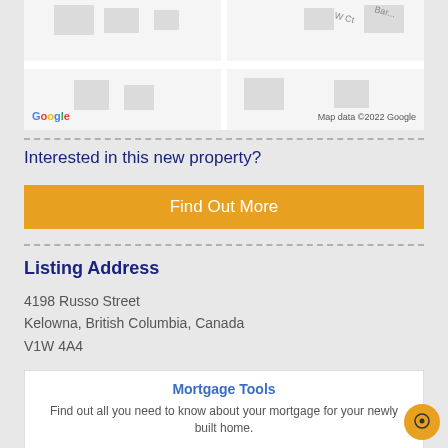[Figure (map): Google Maps street map showing property location with building footprints. Map data ©2022 Google watermark visible.]
Interested in this new property?
Find Out More
Listing Address
4198 Russo Street
Kelowna, British Columbia, Canada
V1W 4A4
Mortgage Tools
Find out all you need to know about your mortgage for your newly built home.